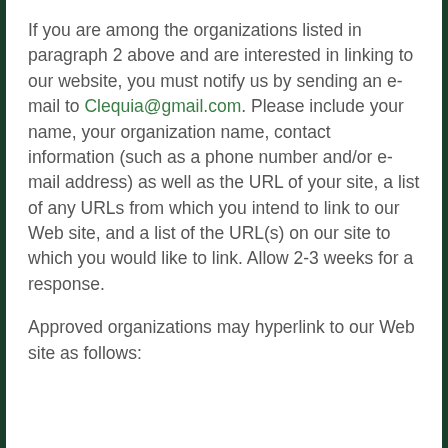If you are among the organizations listed in paragraph 2 above and are interested in linking to our website, you must notify us by sending an e-mail to Clequia@gmail.com. Please include your name, your organization name, contact information (such as a phone number and/or e-mail address) as well as the URL of your site, a list of any URLs from which you intend to link to our Web site, and a list of the URL(s) on our site to which you would like to link. Allow 2-3 weeks for a response.
Approved organizations may hyperlink to our Web site as follows: